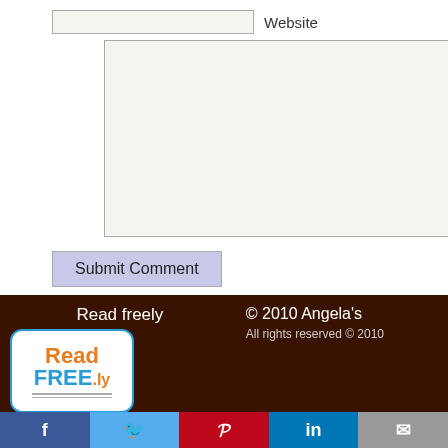[Figure (screenshot): Website input field with label 'Website']
[Figure (screenshot): Large text area input box with light green-grey background]
[Figure (screenshot): Submit Comment button with light purple/blue background]
Read freely
[Figure (logo): ReadFREE.ly logo - orange and blue text on white background with rounded border]
© 2010 Angela's
All rights reserved © 2010
[Figure (infographic): Social sharing bar with Facebook, Twitter, Pinterest, LinkedIn, and Email buttons]